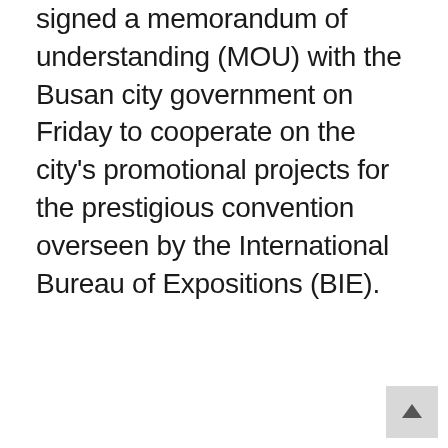signed a memorandum of understanding (MOU) with the Busan city government on Friday to cooperate on the city's promotional projects for the prestigious convention overseen by the International Bureau of Expositions (BIE).